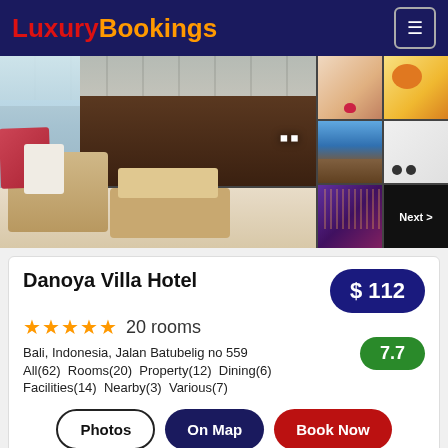LuxuryBookings
[Figure (photo): Hotel gallery showing main lounge/lobby interior with rattan furniture and pink/red cushions, plus 5 thumbnail images of rooms, food, exterior and amenities. A 'Next >' overlay appears on the last thumbnail.]
Danoya Villa Hotel
★★★★★  20 rooms
Bali, Indonesia, Jalan Batubelig no 559
All(62)  Rooms(20)  Property(12)  Dining(6)  Facilities(14)  Nearby(3)  Various(7)
$ 112
7.7
Photos  On Map  Book Now